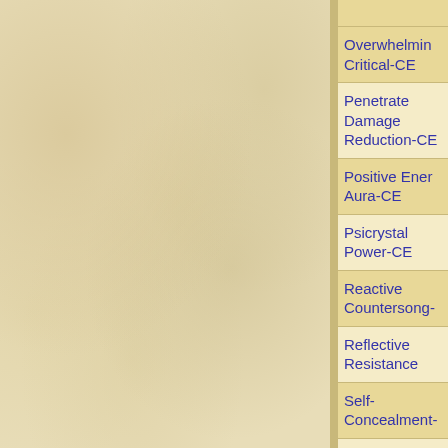[Figure (illustration): Parchment/aged paper texture background filling the left panel of the page, beige/tan coloring with mottled texture.]
Overwhelming Critical-CE
Penetrate Damage Reduction-CE
Positive Energy Aura-CE
Psicrystal Power-CE
Reactive Countersong-
Reflective Resistance
Self-Concealment-